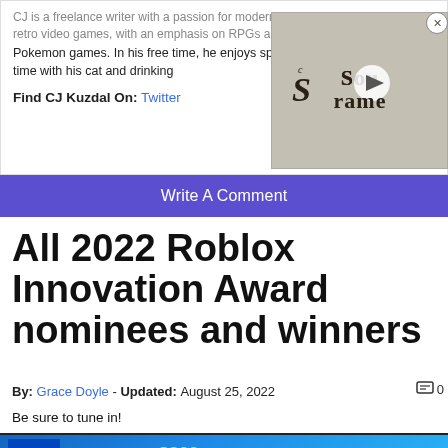CJ is a freelance writer with a passion for modern and retro video games, with an emphasis on RPGs and Pokemon games. In his free time, he enjoys spending time with his cat and drinking
[Figure (screenshot): Soulframe game video thumbnail with medieval-style text logo]
Find CJ Kuzdal On: Twitter
Write A Comment
All 2022 Roblox Innovation Award nominees and winners
By: Grace Doyle - Updated: August 25, 2022   0
Be sure to tune in!
[Figure (screenshot): Best Buy advertisement: Save up to $300 on select HP laptops with 12th Gen Intel Core processors. Offer valid 8/22/22-8/28/22. Minimum savings is $30. © 2022 Best Buy]